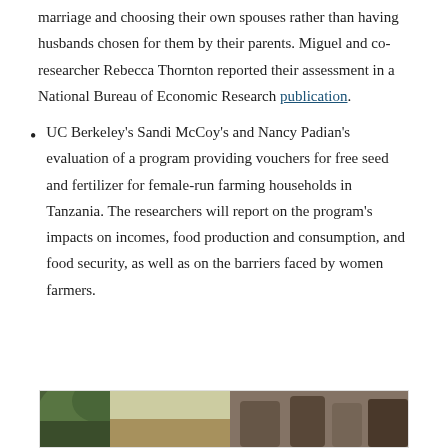marriage and choosing their own spouses rather than having husbands chosen for them by their parents. Miguel and co-researcher Rebecca Thornton reported their assessment in a National Bureau of Economic Research publication.
UC Berkeley's Sandi McCoy's and Nancy Padian's evaluation of a program providing vouchers for free seed and fertilizer for female-run farming households in Tanzania. The researchers will report on the program's impacts on incomes, food production and consumption, and food security, as well as on the barriers faced by women farmers.
[Figure (photo): A partial photograph showing what appears to be an outdoor scene with vegetation, partially visible at the bottom of the page.]